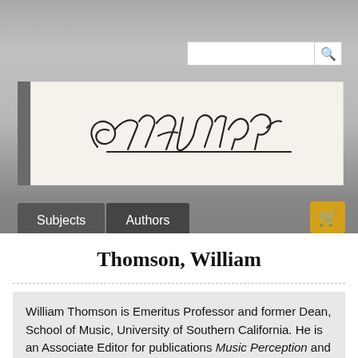[Figure (logo): Edwin Mellen Press handwritten signature logo on cream background with dark gray sidebar]
Thomson, William
William Thomson is Emeritus Professor and former Dean, School of Music, University of Southern California. He is an Associate Editor for publications Music Perception and Empirical